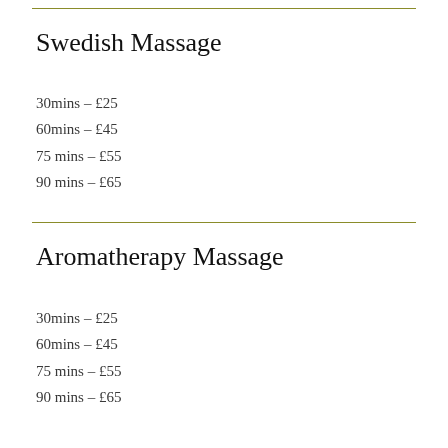Swedish Massage
30mins – £25
60mins – £45
75 mins – £55
90 mins – £65
Aromatherapy Massage
30mins – £25
60mins – £45
75 mins – £55
90 mins – £65